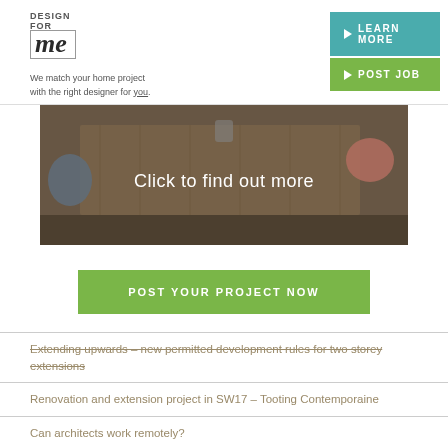DESIGN FOR me | We match your home project with the right designer for you.
[Figure (photo): Overhead view of a wooden dining table with chairs; text overlay reads 'Click to find out more']
POST YOUR PROJECT NOW
Extending upwards – new permitted development rules for two storey extensions
Renovation and extension project in SW17 – Tooting Contemporaine
Can architects work remotely?
Can garden designers work remotely?